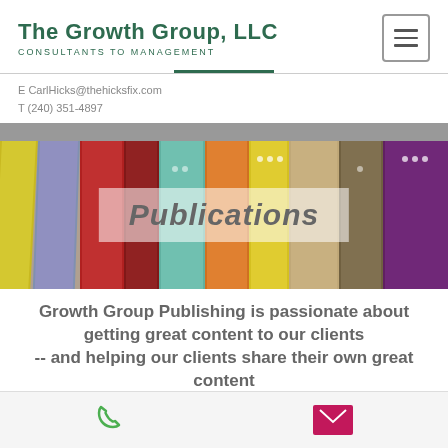The Growth Group, LLC
CONSULTANTS TO MANAGEMENT
E CarlHicks@thehicksfix.com
T (240) 351-4897
[Figure (photo): Colorful books standing upright with a semi-transparent 'Publications' overlay text in the center]
Publications
Growth Group Publishing is passionate about getting great content to our clients
-- and helping our clients share their own great content